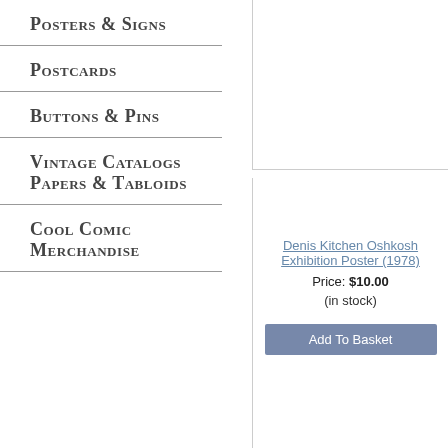Posters & Signs
Postcards
Buttons & Pins
Vintage Catalogs Papers & Tabloids
Cool Comic Merchandise
Denis Kitchen Oshkosh Exhibition Poster (1978)
Price: $10.00
(in stock)
Add To Basket